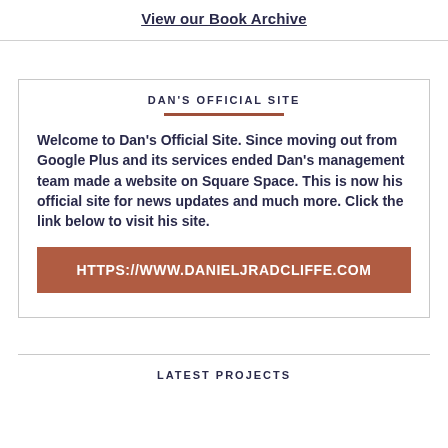View our Book Archive
DAN'S OFFICIAL SITE
Welcome to Dan's Official Site. Since moving out from Google Plus and its services ended Dan's management team made a website on Square Space. This is now his official site for news updates and much more. Click the link below to visit his site.
HTTPS://WWW.DANIELJRADCLIFFE.COM
LATEST PROJECTS